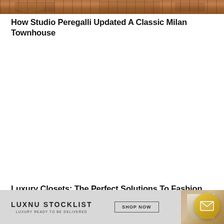[Figure (photo): Top portion of an interior design photo showing a classic Milan townhouse, with warm brown and wood tones visible at the top of the page.]
How Studio Peregalli Updated A Classic Milan Townhouse
Luxury Closets: The Perfect Solutions To Fashion Lovers
[Figure (infographic): Advertisement banner for LUXNU STOCKLIST - Luxury Ready To Be Delivered, with a SHOP NOW button and a product image on the right, plus an email subscription button overlay.]